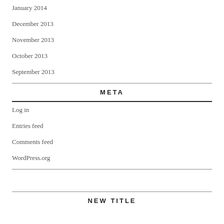January 2014
December 2013
November 2013
October 2013
September 2013
META
Log in
Entries feed
Comments feed
WordPress.org
NEW TITLE